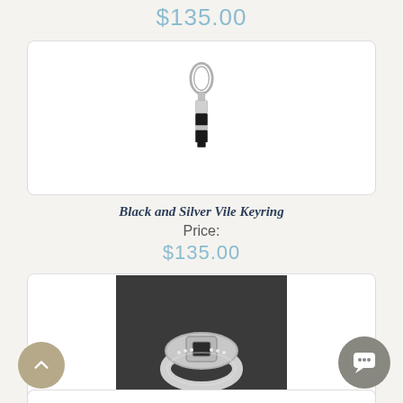$135.00
[Figure (photo): Black and Silver Vile Keyring product image — a small keyring with a rectangular black and silver cylindrical vile pendant on a white background]
Black and Silver Vile Keyring
Price:
$135.00
[Figure (photo): Silver Ring product image — a silver ring with small diamonds on a dark grey background]
Silver Ring
Price:
$135.00